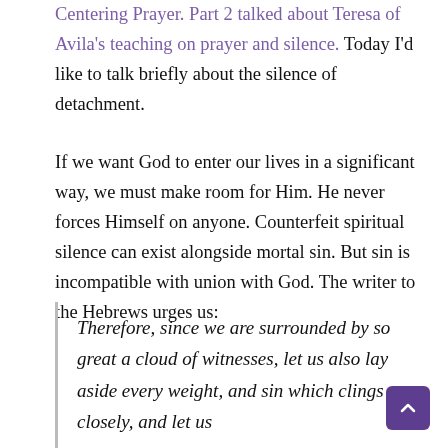Centering Prayer. Part 2 talked about Teresa of Avila's teaching on prayer and silence. Today I'd like to talk briefly about the silence of detachment.
If we want God to enter our lives in a significant way, we must make room for Him. He never forces Himself on anyone. Counterfeit spiritual silence can exist alongside mortal sin. But sin is incompatible with union with God. The writer to the Hebrews urges us:
Therefore, since we are surrounded by so great a cloud of witnesses, let us also lay aside every weight, and sin which clings so closely, and let us